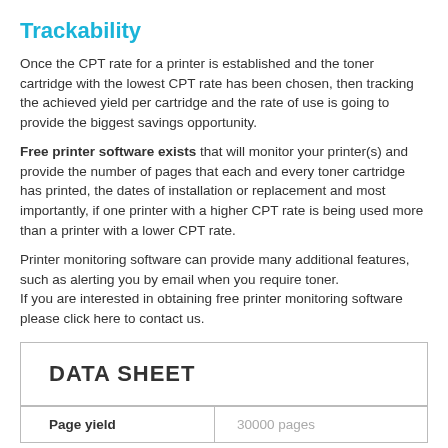Trackability
Once the CPT rate for a printer is established and the toner cartridge with the lowest CPT rate has been chosen, then tracking the achieved yield per cartridge and the rate of use is going to provide the biggest savings opportunity.
Free printer software exists that will monitor your printer(s) and provide the number of pages that each and every toner cartridge has printed, the dates of installation or replacement and most importantly, if one printer with a higher CPT rate is being used more than a printer with a lower CPT rate.
Printer monitoring software can provide many additional features, such as alerting you by email when you require toner.
If you are interested in obtaining free printer monitoring software please click here to contact us.
DATA SHEET
| Page yield |  |
| --- | --- |
| Page yield | 30000 pages |